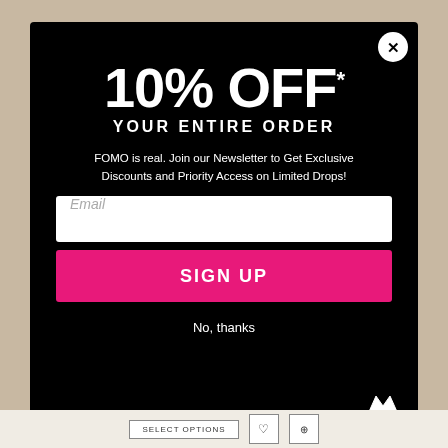[Figure (screenshot): E-commerce popup modal with black background offering 10% off discount for newsletter signup]
10% OFF*
YOUR ENTIRE ORDER
FOMO is real. Join our Newsletter to Get Exclusive Discounts and Priority Access on Limited Drops!
Email
SIGN UP
No, thanks